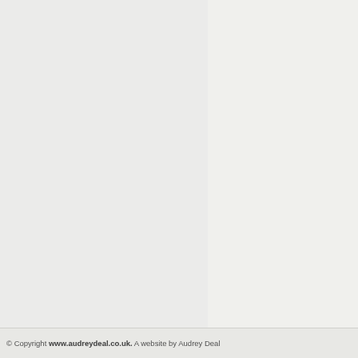Twinkle twinkle
Trains courting corner of still
how wire window with 20
at the top of the stars you Friday
Scarecrow
I'm a 5050 scarecrow with the 50
Category: Wordplay
More Articles...
Incomprehensibilities - Long
© Copyright www.audreydeal.co.uk. A website by Audrey Deal